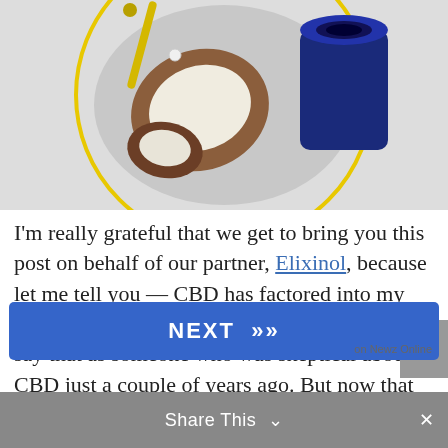[Figure (photo): Overhead photo of CBD-related items: coconut pieces, a blue glass bottle, and a yellow dropper, arranged inside a yellow circle on a light gray background.]
I'm really grateful that we get to bring you this post on behalf of our partner, Elixinol, because let me tell you — CBD has factored into my self-care and wellness routine big time. And I say that as someone who was skeptical about CBD just a couple of years ago. But now that I've seen the diff... in my mood, my well-being, and my ability to sleep better, I've become a devotee. I finally get it! (Seriously,